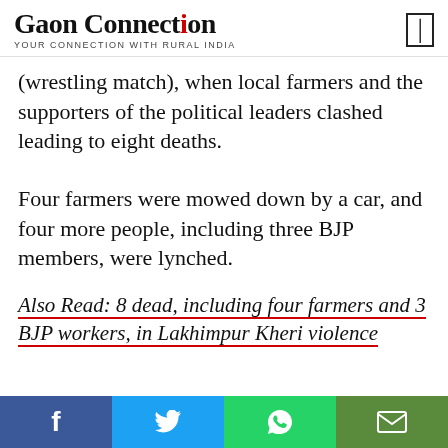GaonConnection — Your Connection with Rural India
(wrestling match), when local farmers and the supporters of the political leaders clashed leading to eight deaths.
Four farmers were mowed down by a car, and four more people, including three BJP members, were lynched.
Also Read: 8 dead, including four farmers and 3 BJP workers, in Lakhimpur Kheri violence